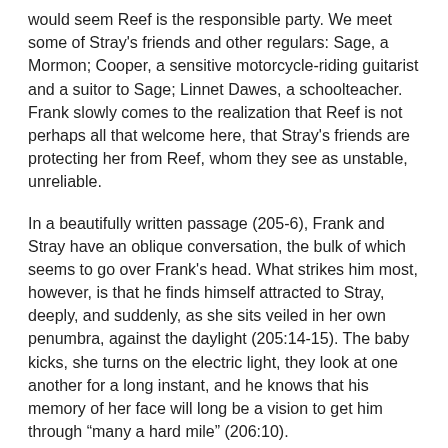would seem Reef is the responsible party. We meet some of Stray's friends and other regulars: Sage, a Mormon; Cooper, a sensitive motorcycle-riding guitarist and a suitor to Sage; Linnet Dawes, a schoolteacher. Frank slowly comes to the realization that Reef is not perhaps all that welcome here, that Stray's friends are protecting her from Reef, whom they see as unstable, unreliable.
In a beautifully written passage (205-6), Frank and Stray have an oblique conversation, the bulk of which seems to go over Frank's head. What strikes him most, however, is that he finds himself attracted to Stray, deeply, and suddenly, as she sits veiled in her own penumbra, against the daylight (205:14-15). The baby kicks, she turns on the electric light, they look at one another for a long instant, and he knows that his memory of her face will long be a vision to get him through "many a hard mile" (206:10).
One day soon afterwards, a phone rings while Reef happens to be sitting right next to it. He answers. It's Jimmy Drop. "I'm sorry Reef. It's your Pa" (207:3). Jimmy knows where they're headed, too: a place called Jeshimon. Reef wants Frank to